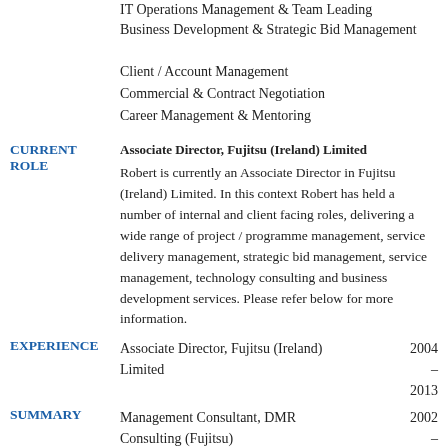IT Operations Management & Team Leading
Business Development & Strategic Bid Management
Client / Account Management
Commercial & Contract Negotiation
Career Management & Mentoring
CURRENT ROLE
Associate Director, Fujitsu (Ireland) Limited
Robert is currently an Associate Director in Fujitsu (Ireland) Limited. In this context Robert has held a number of internal and client facing roles, delivering a wide range of project / programme management, service delivery management, strategic bid management, service management, technology consulting and business development services. Please refer below for more information.
EXPERIENCE
Associate Director, Fujitsu (Ireland) Limited   2004 – 2013
SUMMARY
Management Consultant, DMR Consulting (Fujitsu)   2002 –